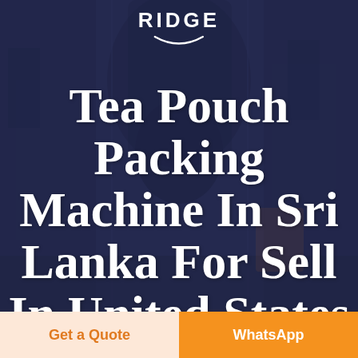[Figure (photo): Dark blue-tinted background photo of industrial tea packing machinery with a semi-transparent overlay]
RIDGE
Tea Pouch Packing Machine In Sri Lanka For Sell In United States
Get a Quote
WhatsApp